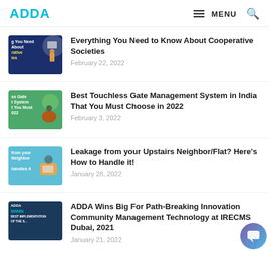ADDA  MENU
Everything You Need to Know About Cooperative Societies — February 22, 2022
Best Touchless Gate Management System in India That You Must Choose in 2022 — February 3, 2022
Leakage from your Upstairs Neighbor/Flat? Here's How to Handle it! — January 28, 2022
ADDA Wins Big For Path-Breaking Innovation Community Management Technology at IRECMS Dubai, 2021 — January 21, 2022